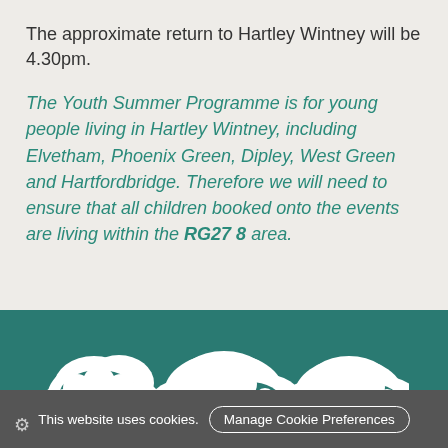The approximate return to Hartley Wintney will be 4.30pm.
The Youth Summer Programme is for young people living in Hartley Wintney, including Elvetham, Phoenix Green, Dipley, West Green and Hartfordbridge. Therefore we will need to ensure that all children booked onto the events are living within the RG27 8 area.
[Figure (illustration): White illustrated trees/bushes on teal background, website footer area]
This website uses cookies. Manage Cookie Preferences